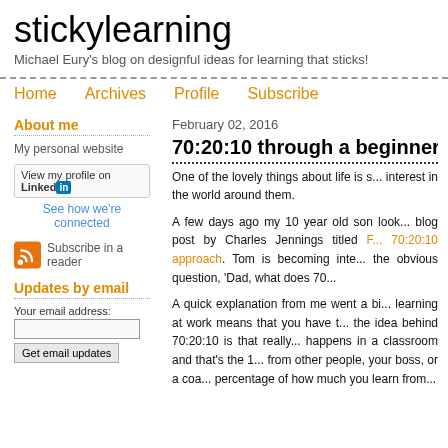stickylearning
Michael Eury's blog on designful ideas for learning that sticks!
Home  Archives  Profile  Subscribe
About me
My personal website
[Figure (other): LinkedIn profile button: View my profile on LinkedIn]
See how we're connected
[Figure (other): RSS feed orange icon]
Subscribe in a reader
Updates by email
Your email address:
Get email updates
February 02, 2016
70:20:10 through a beginner's
One of the lovely things about life is s... interest in the world around them.
A few days ago my 10 year old son look... blog post by Charles Jennings titled F... 70:20:10 approach. Tom is becoming inte... the obvious question, 'Dad, what does 70...
A quick explanation from me went a bi... learning at work means that you have t... the idea behind 70:20:10 is that really... happens in a classroom and that's the 1... from other people, your boss, or a coa... percentage of how much you learn from...